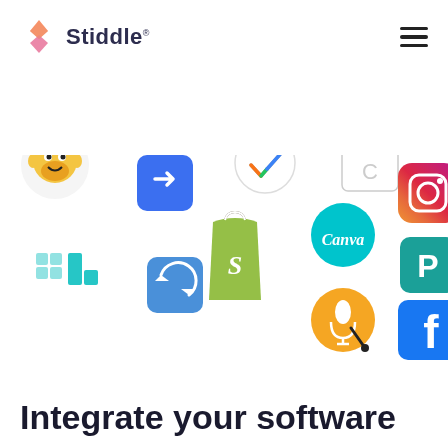Stiddle
[Figure (infographic): Collection of software integration logos including Mailchimp, a blue arrow/prompt app, ClickUp, a calendar/Calendly app, a grid/chart icon, Shopify, Canva, a teal P icon (Payhip), a refresh/sync icon, a microphone app, Instagram, and Facebook logos arranged in a scattered cluster layout.]
Integrate your software